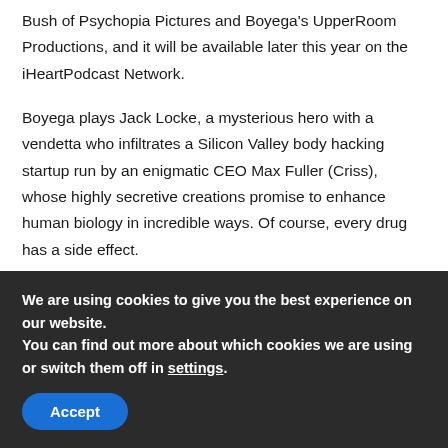Bush of Psychopia Pictures and Boyega's UpperRoom Productions, and it will be available later this year on the iHeartPodcast Network.
Boyega plays Jack Locke, a mysterious hero with a vendetta who infiltrates a Silicon Valley body hacking startup run by an enigmatic CEO Max Fuller (Criss), whose highly secretive creations promise to enhance human biology in incredible ways. Of course, every drug has a side effect.
iHeartRadio began developing this with the producers in late 2019 as part of its expanding slate of immersive PodFiction
We are using cookies to give you the best experience on our website.
You can find out more about which cookies we are using or switch them off in settings.
Accept